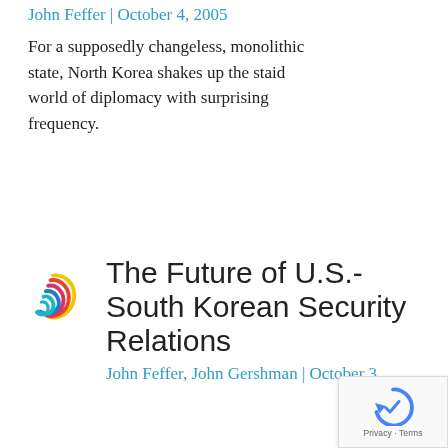John Feffer | October 4, 2005
For a supposedly changeless, monolithic state, North Korea shakes up the staid world of diplomacy with surprising frequency.
[Figure (logo): Colorful swirl logo with yellow, red/pink, blue, and teal wave lines forming a spiral or flame-like shape]
The Future of U.S.-South Korean Security Relations
John Feffer, John Gershman | October 3,